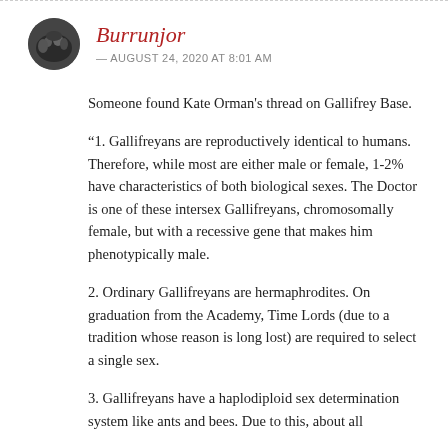[Figure (photo): Circular avatar photo of user Burrunjor, showing a dark outdoor scene.]
Burrunjor
— AUGUST 24, 2020 AT 8:01 AM
Someone found Kate Orman's thread on Gallifrey Base.
“1. Gallifreyans are reproductively identical to humans. Therefore, while most are either male or female, 1-2% have characteristics of both biological sexes. The Doctor is one of these intersex Gallifreyans, chromosomally female, but with a recessive gene that makes him phenotypically male.
2. Ordinary Gallifreyans are hermaphrodites. On graduation from the Academy, Time Lords (due to a tradition whose reason is long lost) are required to select a single sex.
3. Gallifreyans have a haplodiploid sex determination system like ants and bees. Due to this, about all…